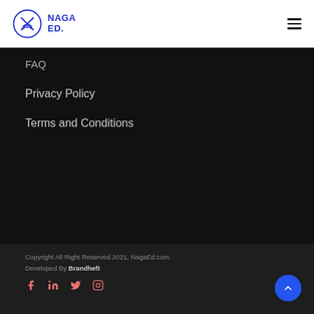[Figure (logo): NagaEd logo: circle with crossed arrows and open book icon in blue, with NAGA ED. text in blue bold next to it]
FAQ
Privacy Policy
Terms and Conditions
Copyright All Right Reserved 2021, NagaEd.com.
Developed By Brandheft
[Figure (illustration): Social media icons: Facebook, LinkedIn, Twitter, Instagram in salmon/pink color]